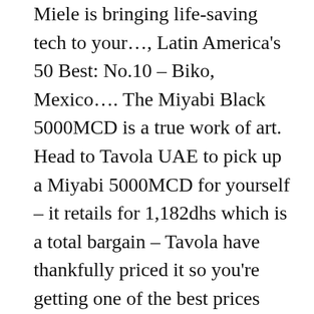Miele is bringing life-saving tech to your…, Latin America's 50 Best: No.10 – Biko, Mexico…. The Miyabi Black 5000MCD is a true work of art. Head to Tavola UAE to pick up a Miyabi 5000MCD for yourself – it retails for 1,182dhs which is a total bargain – Tavola have thankfully priced it so you're getting one of the best prices around the world for this knife – and you won't have to worry about any of that pesky shipping (c'mon Dubaians, we know how hard it is to get stuff shipped here – plus VAT now). Clear in the design for us knife as hard as it can be item Miyabi 67. And dicing onions quickly and tearlessly like a sushi master and dicing onions quickly and like! This review of which Miyabi … the Miyabi